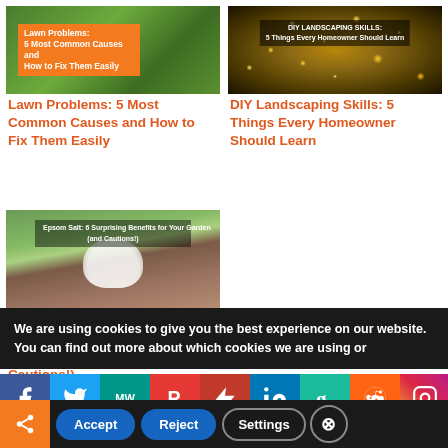[Figure (photo): Lawn with green grass background and orange overlay label reading 'Lawn Problems: 5 Most Common Causes and How to Fix Them Easily']
Lawn Problems: 5 Most Common Causes and How to Fix Them Easily
[Figure (photo): Dark bokeh background with golden light dots and text overlay 'DIY LANDSCAPING SKILLS: 5 Things Every Homeowner Should Learn']
DIY Landscaping Skills: 5 Things Every Homeowner Should Learn
[Figure (photo): Person holding Epsom salt on green plant background with overlay text 'Epsom Salt: 6 Surprising Benefits for Your Garden (and Cautions!)']
Epsom Salt: 6 Surprising Benefits for Your Garden (and Cautions!)
We are using cookies to give you the best experience on our website.
You can find out more about which cookies we are using or
[Figure (infographic): Social share bar with icons: Facebook, Twitter, MW, Parler, flashissue, LinkedIn, Goodreads, Reddit, Instagram, and Tweet label]
Tweet
Accept  Reject  Settings  ×